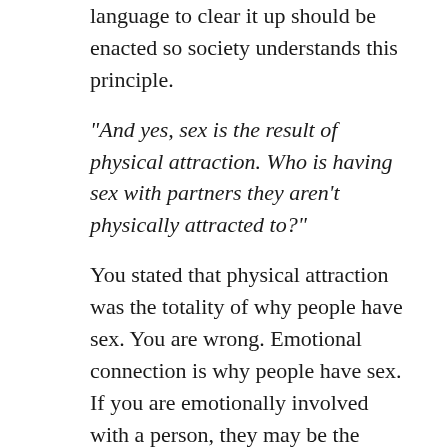language to clear it up should be enacted so society understands this principle.
“And yes, sex is the result of physical attraction. Who is having sex with partners they aren’t physically attracted to?”
You stated that physical attraction was the totality of why people have sex. You are wrong. Emotional connection is why people have sex. If you are emotionally involved with a person, they may be the ugliest creature known to man, and you won’t care. Beauty is entirely in the eyes of the beholder, and based on your feelings. If it weren’t we would all be attracted to the same person. We’re not.
“No mention in your response of the fact that